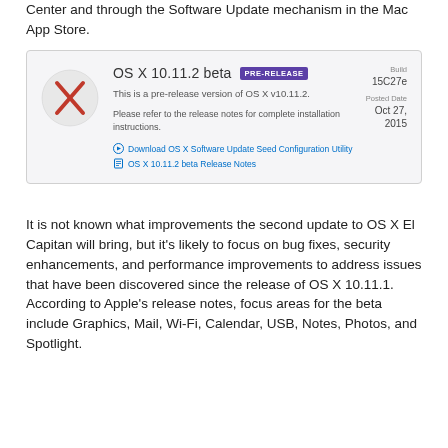Center and through the Software Update mechanism in the Mac App Store.
[Figure (screenshot): Screenshot of Apple developer portal showing OS X 10.11.2 beta PRE-RELEASE. Build: 15C27e. Posted Date: Oct 27, 2015. Description: This is a pre-release version of OS X v10.11.2. Please refer to the release notes for complete installation instructions. Links: Download OS X Software Update Seed Configuration Utility; OS X 10.11.2 beta Release Notes.]
It is not known what improvements the second update to OS X El Capitan will bring, but it's likely to focus on bug fixes, security enhancements, and performance improvements to address issues that have been discovered since the release of OS X 10.11.1. According to Apple's release notes, focus areas for the beta include Graphics, Mail, Wi-Fi, Calendar, USB, Notes, Photos, and Spotlight.